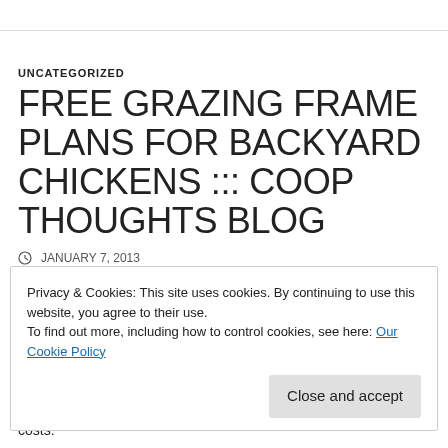UNCATEGORIZED
FREE GRAZING FRAME PLANS FOR BACKYARD CHICKENS ::: COOP THOUGHTS BLOG
JANUARY 7, 2013
Privacy & Cookies: This site uses cookies. By continuing to use this website, you agree to their use.
To find out more, including how to control cookies, see here: Our Cookie Policy
costs.